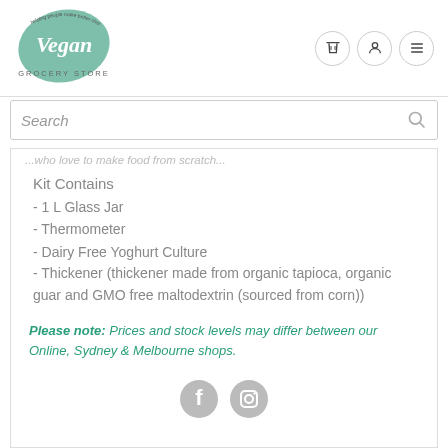[Figure (logo): Vegan Grocery Store logo: a green leaf with 'Vegan' written in white script and 'GROCERY STORE' text below, with small text around the leaf edge]
...who love to make food from scratch...
Kit Contains
- 1 L Glass Jar
- Thermometer
- Dairy Free Yoghurt Culture
- Thickener (thickener made from organic tapioca, organic guar and GMO free maltodextrin (sourced from corn))
Please note: Prices and stock levels may differ between our Online, Sydney & Melbourne shops.
[Figure (illustration): Facebook and Instagram social media icons in grey circles]